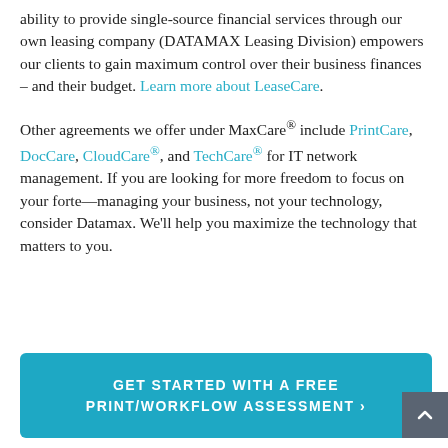ability to provide single-source financial services through our own leasing company (DATAMAX Leasing Division) empowers our clients to gain maximum control over their business finances – and their budget. Learn more about LeaseCare.
Other agreements we offer under MaxCare® include PrintCare, DocCare, CloudCare®, and TechCare® for IT network management. If you are looking for more freedom to focus on your forte—managing your business, not your technology, consider Datamax. We'll help you maximize the technology that matters to you.
GET STARTED WITH A FREE PRINT/WORKFLOW ASSESSMENT ›